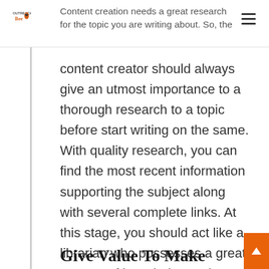Outreach Bee — navigation header with logo and hamburger menu
Content creation needs a great research for the topic you are writing about. So, the content creator should always give an utmost importance to a thorough research to a topic before start writing on the same. With quality research, you can find the most recent information supporting the subject along with several complete links. At this stage, you should act like a librarian who possesses a great amount of knowledge and specialises in the web research.
Give Value To Make Outstanding Headlines